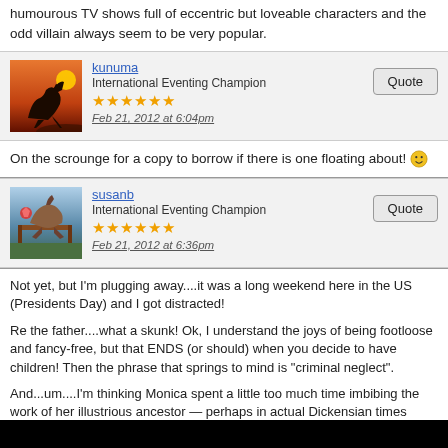humourous TV shows full of eccentric but loveable characters and the odd villain always seem to be very popular.
kunuma
International Eventing Champion
★★★★★★
Feb 21, 2012 at 6:04pm
On the scrounge for a copy to borrow if there is one floating about! 🙂
susanb
International Eventing Champion
★★★★★★
Feb 21, 2012 at 6:36pm
Not yet, but I'm plugging away....it was a long weekend here in the US (Presidents Day) and I got distracted!

Re the father....what a skunk! Ok, I understand the joys of being footloose and fancy-free, but that ENDS (or should) when you decide to have children! Then the phrase that springs to mind is "criminal neglect".

And...um....I'm thinking Monica spent a little too much time imbibing the work of her illustrious ancestor — perhaps in actual Dickensian times